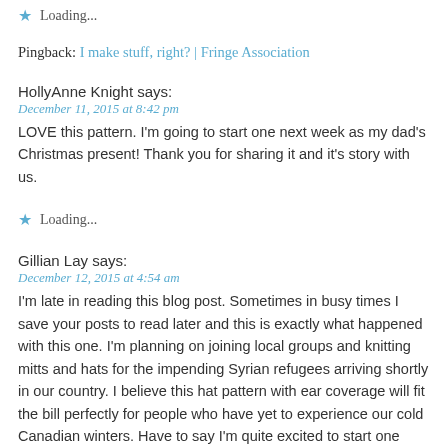★ Loading...
Pingback: I make stuff, right? | Fringe Association
HollyAnne Knight says:
December 11, 2015 at 8:42 pm
LOVE this pattern. I'm going to start one next week as my dad's Christmas present! Thank you for sharing it and it's story with us.
★ Loading...
Gillian Lay says:
December 12, 2015 at 4:54 am
I'm late in reading this blog post. Sometimes in busy times I save your posts to read later and this is exactly what happened with this one. I'm planning on joining local groups and knitting mitts and hats for the impending Syrian refugees arriving shortly in our country. I believe this hat pattern with ear coverage will fit the bill perfectly for people who have yet to experience our cold Canadian winters. Have to say I'm quite excited to start one towards my contribution to a worthy cause! Thank you!